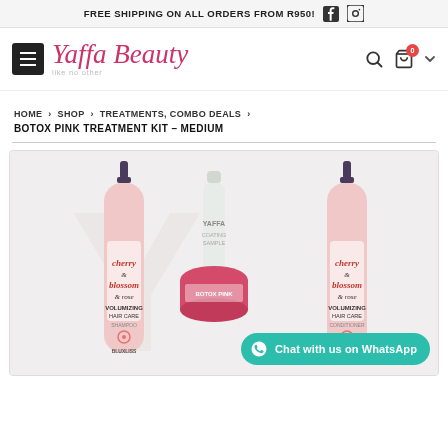FREE SHIPPING ON ALL ORDERS FROM R950!
[Figure (logo): Yaffa Beauty logo with cursive script and subtitle 'like no other']
HOME > SHOP > TREATMENTS, COMBO DEALS > BOTOX PINK TREATMENT KIT – MEDIUM
[Figure (photo): Product photo showing Cherry Blossom Rose Volumizing Hair Care shampoo and conditioner bottles by BLuxliss, a small spray bottle with Yaffa branding, and a pink jar — Botox Pink Treatment Kit]
Chat with us on WhatsApp